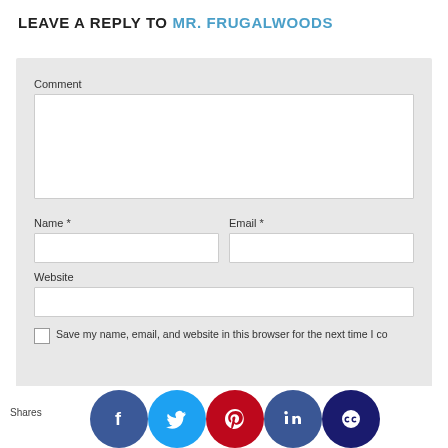LEAVE A REPLY TO MR. FRUGALWOODS
Comment
Name *
Email *
Website
Save my name, email, and website in this browser for the next time I comment.